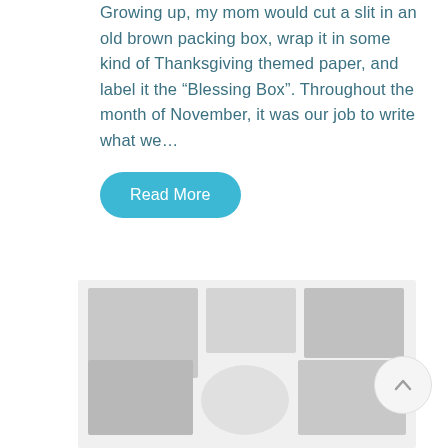Growing up, my mom would cut a slit in an old brown packing box, wrap it in some kind of Thanksgiving themed paper, and label it the “Blessing Box”. Throughout the month of November, it was our job to write what we...
Read More
[Figure (photo): A blurred/faded photograph placeholder showing indistinct shapes and forms in light gray tones]